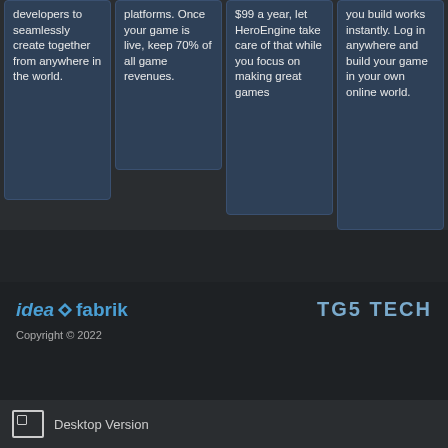developers to seamlessly create together from anywhere in the world.
platforms. Once your game is live, keep 70% of all game revenues.
$99 a year, let HeroEngine take care of that while you focus on making great games
you build works instantly. Log in anywhere and build your game in your own online world.
[Figure (logo): idea fabrik logo in blue italic text with diamond symbol]
[Figure (logo): TG5 TECH logo in blue-gray bold text]
Copyright © 2022
Desktop Version